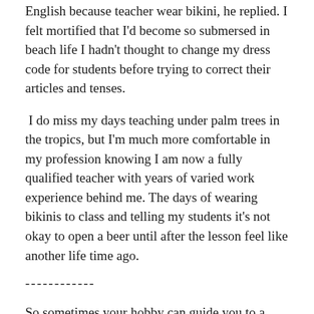English because teacher wear bikini, he replied. I felt mortified that I'd become so submersed in beach life I hadn't thought to change my dress code for students before trying to correct their articles and tenses.
I do miss my days teaching under palm trees in the tropics, but I'm much more comfortable in my profession knowing I am now a fully qualified teacher with years of varied work experience behind me. The days of wearing bikinis to class and telling my students it's not okay to open a beer until after the lesson feel like another life time ago.
------------
So sometimes your hobby can guide you to a new chapter of your life. And it's so wonderful when you can combine and improve both activities with more